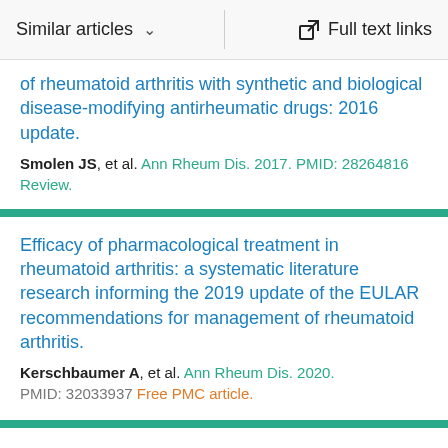Similar articles   ∨   Full text links
of rheumatoid arthritis with synthetic and biological disease-modifying antirheumatic drugs: 2016 update.
Smolen JS, et al. Ann Rheum Dis. 2017. PMID: 28264816
Review.
Efficacy of pharmacological treatment in rheumatoid arthritis: a systematic literature research informing the 2019 update of the EULAR recommendations for management of rheumatoid arthritis.
Kerschbaumer A, et al. Ann Rheum Dis. 2020.
PMID: 32033937 Free PMC article.
Safety of synthetic and biological DMARDs: a